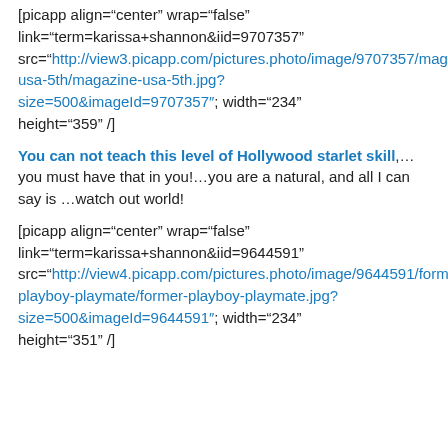[picapp align="center" wrap="false" link="term=karissa+shannon&iid=9707357" src="http://view3.picapp.com/pictures.photo/image/9707357/magazine-usa-5th/magazine-usa-5th.jpg?size=500&imageId=9707357&#8243; width="234" height="359" /]
You can not teach this level of Hollywood starlet skill,…you must have that in you!…you are a natural, and all I can say is …watch out world!
[picapp align="center" wrap="false" link="term=karissa+shannon&iid=9644591" src="http://view4.picapp.com/pictures.photo/image/9644591/former-playboy-playmate/former-playboy-playmate.jpg?size=500&imageId=9644591&#8243; width="234" height="351" /]